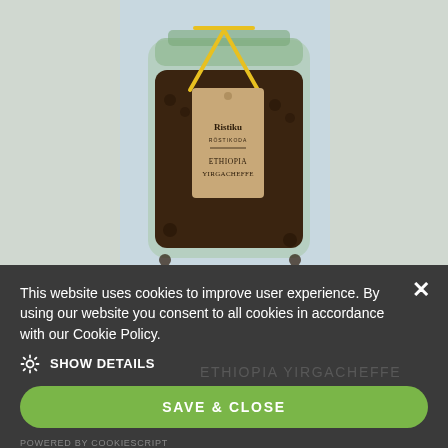[Figure (photo): A glass jar filled with dark coffee beans (Ethiopia Yirgacheffe) with a kraft paper hang tag tied by a yellow cord. The tag reads 'Ristiku Röstikoda' with a logo and 'ETHIOPIA YIRGACHEFFE' below. Light blue/grey background.]
This website uses cookies to improve user experience. By using our website you consent to all cookies in accordance with our Cookie Policy.
SHOW DETAILS
SAVE & CLOSE
POWERED BY COOKIESCRIPT